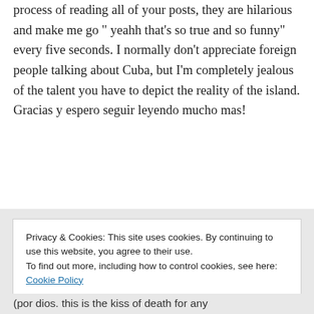process of reading all of your posts, they are hilarious and make me go " yeahh that's so true and so funny" every five seconds. I normally don't appreciate foreign people talking about Cuba, but I'm completely jealous of the talent you have to depict the reality of the island. Gracias y espero seguir leyendo mucho mas!
↳ Reply
Privacy & Cookies: This site uses cookies. By continuing to use this website, you agree to their use. To find out more, including how to control cookies, see here: Cookie Policy
Close and accept
(por dios. this is the kiss of death for any